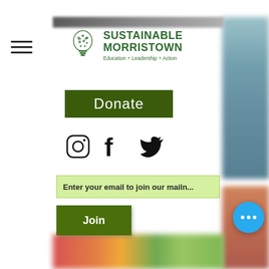[Figure (logo): Sustainable Morristown logo — lightbulb made of green icons, with text SUSTAINABLE MORRISTOWN and tagline Education + Leadership + Action]
[Figure (other): Dark green Donate button]
[Figure (other): Social media icons row: Instagram, Facebook, Twitter]
Enter your email to join our mailn...
Join